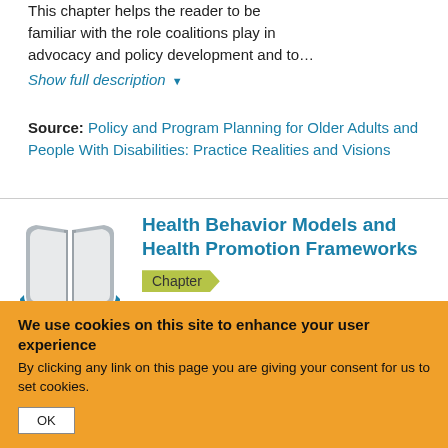This chapter helps the reader to be familiar with the role coalitions play in advocacy and policy development and to…
Show full description ▼
Source: Policy and Program Planning for Older Adults and People With Disabilities: Practice Realities and Visions
Health Behavior Models and Health Promotion Frameworks
Chapter
This chapter explores health promotion frameworks, to showcase their role vis-à-
We use cookies on this site to enhance your user experience
By clicking any link on this page you are giving your consent for us to set cookies.